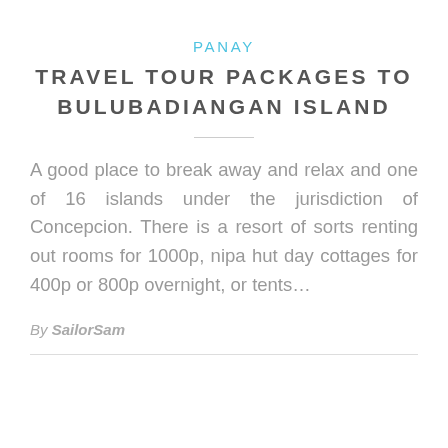PANAY
TRAVEL TOUR PACKAGES TO BULUBADIANGAN ISLAND
A good place to break away and relax and one of 16 islands under the jurisdiction of Concepcion. There is a resort of sorts renting out rooms for 1000p, nipa hut day cottages for 400p or 800p overnight, or tents...
By SailorSam